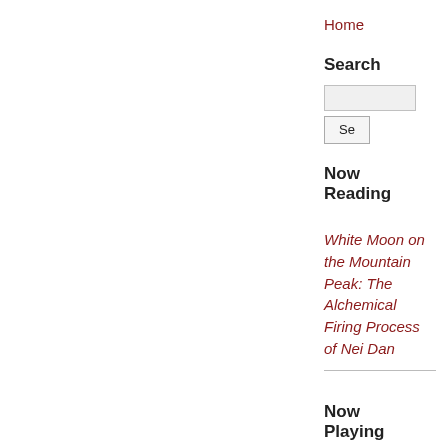Home
Search
[Figure (screenshot): Search input field and Se button]
Now Reading
White Moon on the Mountain Peak: The Alchemical Firing Process of Nei Dan
Now Playing